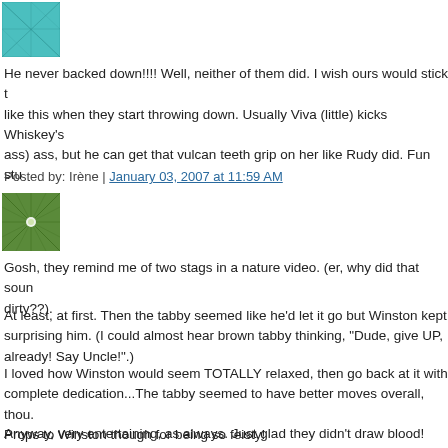[Figure (photo): Small teal/cyan avatar image, approximately 60x60px, with grid-like pattern]
He never backed down!!!! Well, neither of them did. I wish ours would stick to like this when they start throwing down. Usually Viva (little) kicks Whiskey's ass) ass, but he can get that vulcan teeth grip on her like Rudy did. Fun stu
Posted by: Irène | January 03, 2007 at 11:59 AM
[Figure (photo): Small green avatar image, approximately 60x60px, with star/geometric pattern]
Gosh, they remind me of two stags in a nature video. (er, why did that sound dirty??).
At least, at first. Then the tabby seemed like he'd let it go but Winston kept surprising him. (I could almost hear brown tabby thinking, "Dude, give UP, already! Say Uncle!".)
I loved how Winston would seem TOTALLY relaxed, then go back at it with complete dedication...The tabby seemed to have better moves overall, thou. Props to Winston though for being so feisty!
Anyway, very entertaining, as always. Just glad they didn't draw blood! Thou maybe that's what the camo is for?? Lol...
Posted by: Karen | January 03, 2007 at 07:53 PM